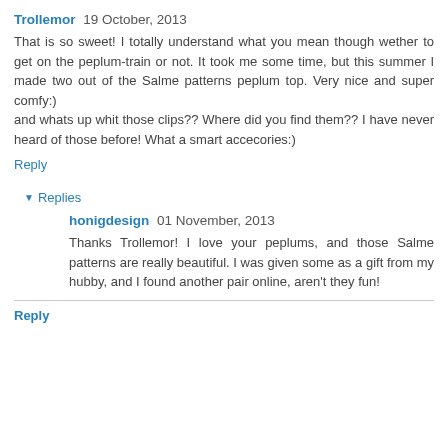Trollemor 19 October, 2013
That is so sweet! I totally understand what you mean though wether to get on the peplum-train or not. It took me some time, but this summer I made two out of the Salme patterns peplum top. Very nice and super comfy:)
and whats up whit those clips?? Where did you find them?? I have never heard of those before! What a smart accecories:)
Reply
Replies
honigdesign 01 November, 2013
Thanks Trollemor! I love your peplums, and those Salme patterns are really beautiful. I was given some as a gift from my hubby, and I found another pair online, aren't they fun!
Reply